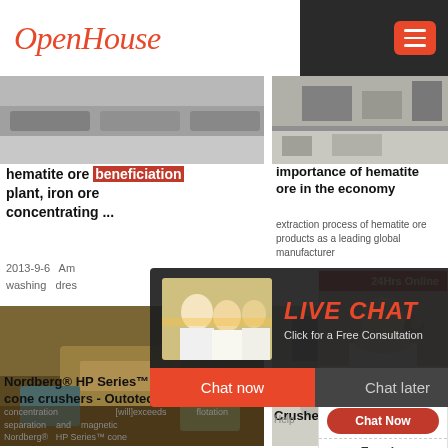OpenHouse
[Figure (photo): Trucks on a road, article image]
hematite ore beneficiation plant, iron ore concentrating ...
2013-9-6  Am... washing dres...
[Figure (photo): Industrial factory equipment]
importance of hematite ore in the economy
extraction process of hematite ore products as a leading global manufacturer
[Figure (photo): Mining crushing machine / cone crusher]
Nordberg® HP Series™ cone crushers - Outotec
concentration draft [will]exceeds flotation separation and magnetic Nordberg® HP Series™ cone
[Figure (photo): Jaw Crusher / gravel pile]
Jaw Crusher CrusherHa CrusherSto
[Figure (infographic): Live Chat popup overlay with workers photo, LIVE CHAT title, Click for a Free Consultation, Chat now / Chat later buttons]
[Figure (infographic): Side panel: 24Hrs Online, customer service agent photo, Need questions & suggestion? Chat Now button, Enquiry, mumulogoods]
Help